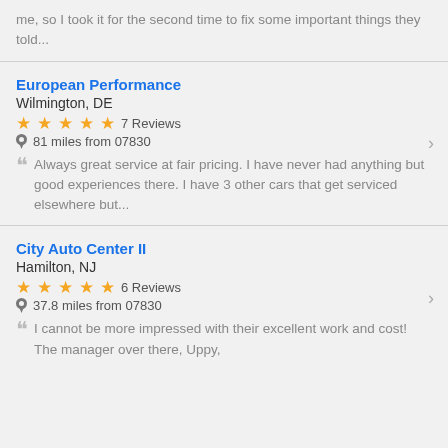me, so I took it for the second time to fix some important things they told...
European Performance
Wilmington, DE
★★★★★ 7 Reviews
81 miles from 07830
Always great service at fair pricing. I have never had anything but good experiences there. I have 3 other cars that get serviced elsewhere but...
City Auto Center II
Hamilton, NJ
★★★★★ 6 Reviews
37.8 miles from 07830
I cannot be more impressed with their excellent work and cost! The manager over there, Uppy,